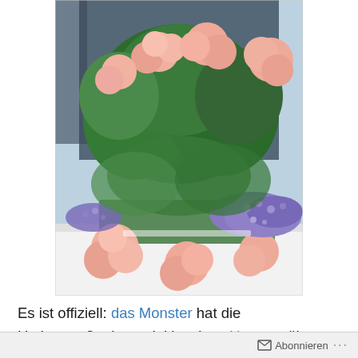[Figure (photo): A window flower box with pink geraniums and small purple flowers (lobelia), photographed from below showing blooms cascading over the edge of a white windowsill, with dark window glass in the background.]
Es ist offiziell: das Monster hat die Umbaumaßnahmen inkl. seines Umzugs über den Sommer nicht überlebt. Auch die Störung durch den Schreiner in der Winterpause
Abonnieren